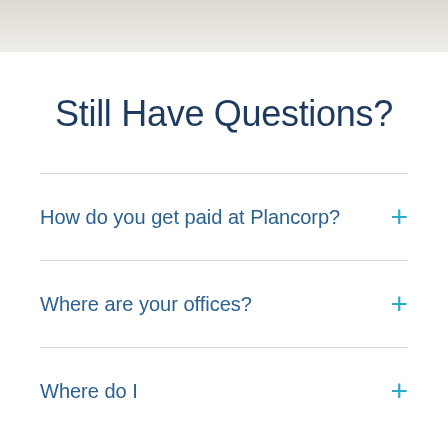Still Have Questions?
How do you get paid at Plancorp?
Where are your offices?
Where do I...